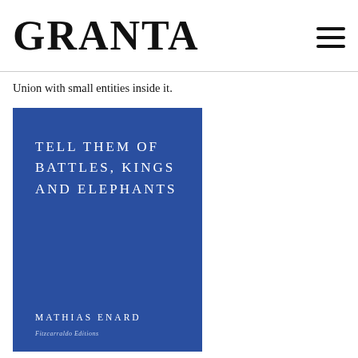GRANTA
Union with small entities inside it.
[Figure (photo): Book cover of 'Tell Them of Battles, Kings and Elephants' by Mathias Enard, published by Fitzcarraldo Editions. The cover is blue with white lettering showing the title and author name.]